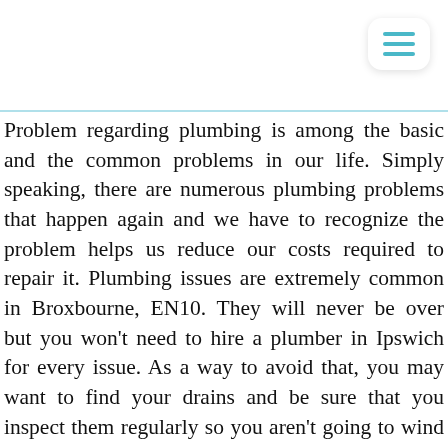Problem regarding plumbing is among the basic and the common problems in our life. Simply speaking, there are numerous plumbing problems that happen again and we have to recognize the problem helps us reduce our costs required to repair it. Plumbing issues are extremely common in Broxbourne, EN10. They will never be over but you won't need to hire a plumber in Ipswich for every issue. As a way to avoid that, you may want to find your drains and be sure that you inspect them regularly so you aren't going to wind up getting a severe plumbing issue. If you see that your drain has an issue, that's as soon as you're able to call a drains London company to come and have a look at the problem to see whether you can get it fixed immediately. On occasion, the true drain clog issues that you have are the end result of the